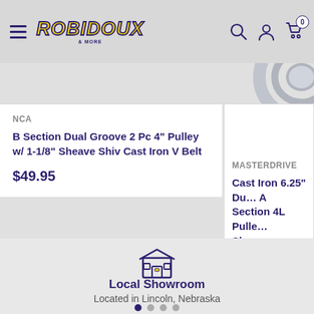Robidoux Inc. — navigation header with menu, logo, search, account, cart (0)
NCA
B Section Dual Groove 2 Pc 4" Pulley w/ 1-1/8" Sheave Shiv Cast Iron V Belt
$49.95
MASTERDRIVE
Cast Iron 6.25" Du… A Section 4L Pulle… Sheave Bushing
$52.95
[Figure (illustration): Store/shop front icon in purple outline]
Local Showroom
Located in Lincoln, Nebraska